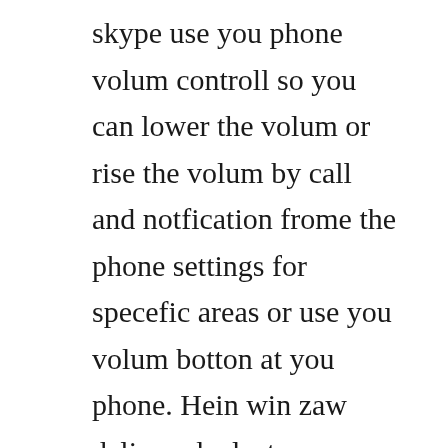skype use you phone volum controll so you can lower the volum or rise the volum by call and notfication frome the phone settings for specefic areas or use you volum botton at you phone. Hein win zaw delivered a lecture on russianmyanmar. Skype lets you make free calls to your friends all over the world. Lub software tso cai rau koj mus ua lub suab thiab video hu, sib pauv lus ntawv, xa cov ntaub ntawv thiab lwm yam skype enables rau customize lub rooj sib tham nrog cov muaj peev xwm mus cuag ib tug loj tus naj npawb ntawm cov neeg siv. Do you know there is a